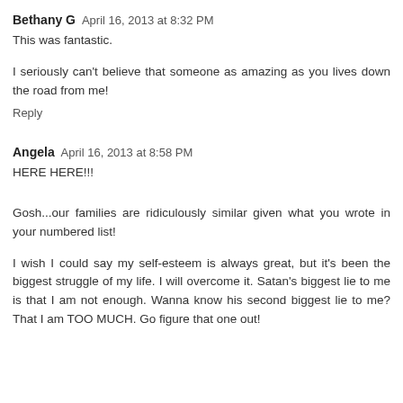Bethany G  April 16, 2013 at 8:32 PM
This was fantastic.
I seriously can't believe that someone as amazing as you lives down the road from me!
Reply
Angela  April 16, 2013 at 8:58 PM
HERE HERE!!!
Gosh...our families are ridiculously similar given what you wrote in your numbered list!
I wish I could say my self-esteem is always great, but it's been the biggest struggle of my life. I will overcome it. Satan's biggest lie to me is that I am not enough. Wanna know his second biggest lie to me? That I am TOO MUCH. Go figure that one out!